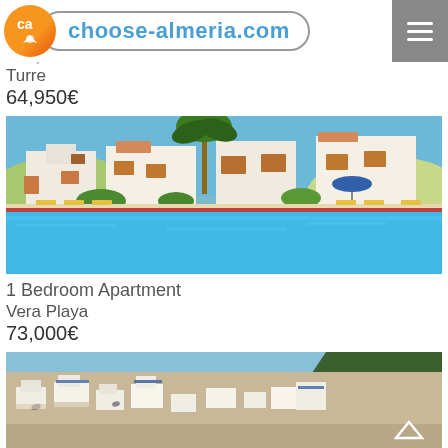choose-almeria.com
oom Apartment
Turre
64,950€
[Figure (photo): Swimming pool with Mediterranean-style white apartment buildings and palm trees at a resort in Vera Playa, Spain]
1 Bedroom Apartment
Vera Playa
73,000€
[Figure (photo): Panoramic view of white hillside village buildings with sea and mountain in the background, Almeria region, Spain]